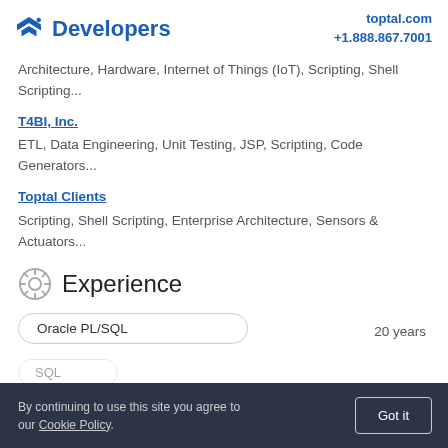Developers | toptal.com +1.888.867.7001
Architecture, Hardware, Internet of Things (IoT), Scripting, Shell Scripting...
T4BI, Inc.
ETL, Data Engineering, Unit Testing, JSP, Scripting, Code Generators...
Toptal Clients
Scripting, Shell Scripting, Enterprise Architecture, Sensors & Actuators...
Experience
Oracle PL/SQL   20 years
By continuing to use this site you agree to our Cookie Policy.